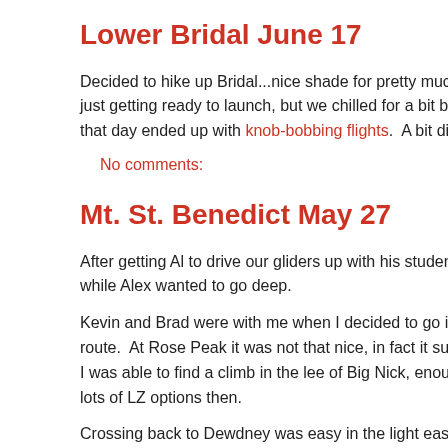Lower Bridal June 17
Decided to hike up Bridal...nice shade for pretty much the entire wa just getting ready to launch, but we chilled for a bit before he took c that day ended up with knob-bobbing flights.  A bit disappointing giv
No comments:
Mt. St. Benedict May 27
After getting Al to drive our gliders up with his students, we hiked u while Alex wanted to go deep.
Kevin and Brad were with me when I decided to go into the Norrish route.  At Rose Peak it was not that nice, in fact it sucked!  And the I was able to find a climb in the lee of Big Nick, enough to get high lots of LZ options then.
Crossing back to Dewdney was easy in the light east wind, and the cut block may have too-tall trees in front, not sure if it could become